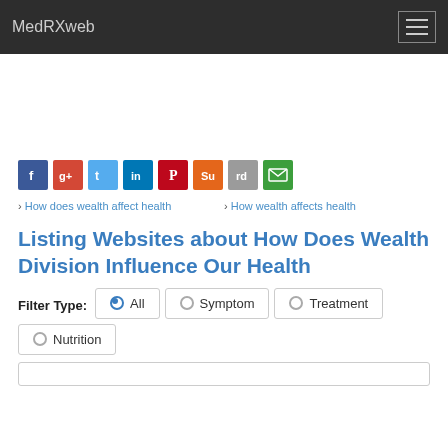MedRXweb
[Figure (screenshot): Social sharing icons row: Facebook (blue), Google+ (red), Twitter (light blue), LinkedIn (dark blue), Pinterest (dark red), StumbleUpon (orange), Reddit (gray), Email (green)]
› How does wealth affect health
› How wealth affects health
Listing Websites about How Does Wealth Division Influence Our Health
Filter Type:  All  Symptom  Treatment  Nutrition